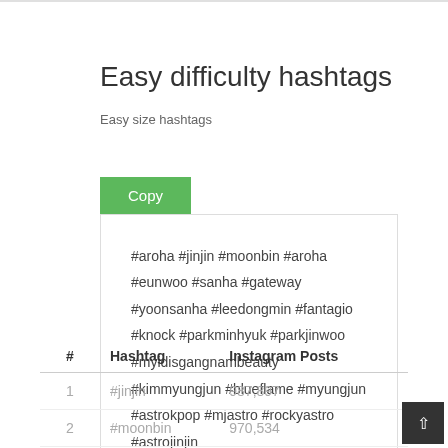Easy difficulty hashtags
Easy size hashtags
Copy
#aroha #jinjin #moonbin #aroha #eunwoo #sanha #gateway #yoonsanha #leedongmin #fantagio #knock #parkminhyuk #parkjinwoo #myidisgangnambeauty #kimmyungjun #blueflame #myungjun #astrokpop #mjastro #rockyastro #astrojinjin
| # | Hashtag | Instagram Posts |
| --- | --- | --- |
| 1 | #jinjin | 987,897 |
| 2 | #moonbin | 970,534 |